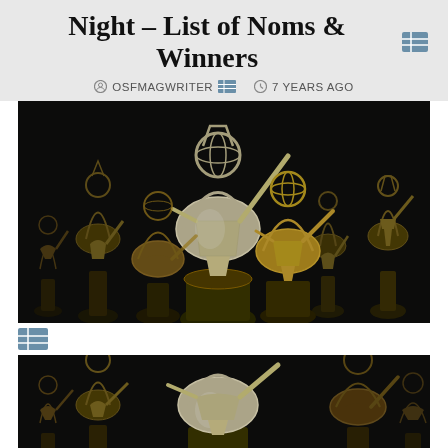Night – List of Noms & Winners
OSFMAGWRITER  7 YEARS AGO
[Figure (photo): Multiple gold Emmy Award statuettes arranged together against a dark background, photographed in close-up]
[Figure (photo): Multiple gold Emmy Award statuettes arranged together against a dark background, second photo cropped view]